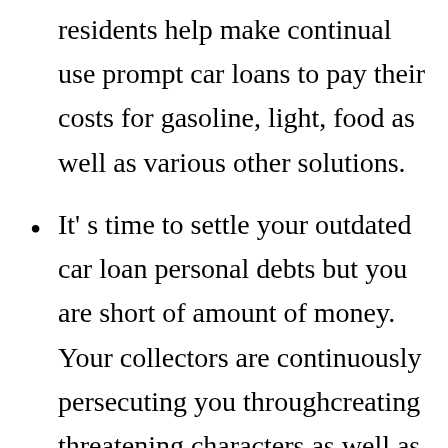residents help make continual use prompt car loans to pay their costs for gasoline, light, food as well as various other solutions.
It' s time to settle your outdated car loan personal debts but you are short of amount of money. Your collectors are continuously persecuting you throughcreating threatening characters as well as phoning you. Attempt to resolve this problem throughsecuring a fast payday funding so as to liquidate your old debts.